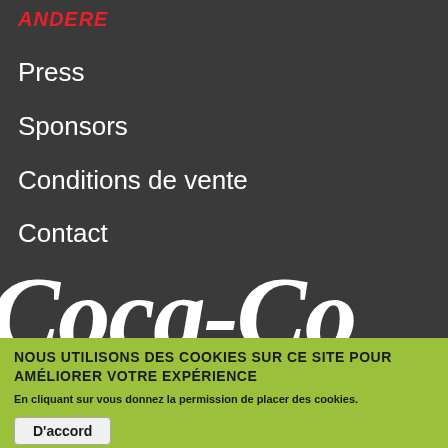ANDERE
Press
Sponsors
Conditions de vente
Contact
[Figure (logo): Coca-Cola logo in white script on dark background, partially visible]
NOUS UTILISONS DES COOKIES SUR CE SITE POUR AMÉLIORER VOTRE EXPÉRIENCE
En cliquant sur vous donnez la permission de placer des cookies.
D'accord